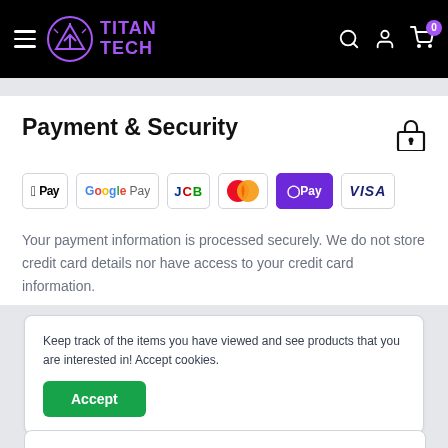TITAN TECH — navigation bar with hamburger menu, logo, search, account, and cart (0 items)
Payment & Security
[Figure (logo): Payment method logos: Apple Pay, Google Pay, JCB, Mastercard, O Pay, Visa]
Your payment information is processed securely. We do not store credit card details nor have access to your credit card information.
Keep track of the items you have viewed and see products that you are interested in! Accept cookies.